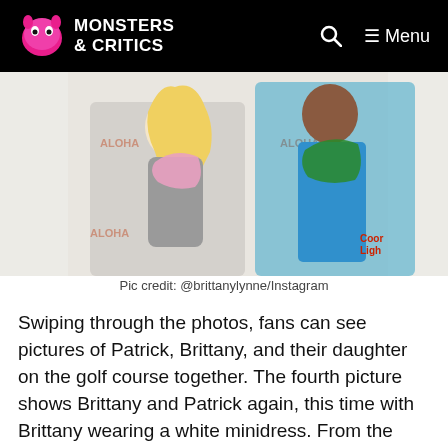MONSTERS & CRITICS
[Figure (photo): A blonde woman in a gray dress wearing a pink/white/yellow lei standing next to a tall man in a blue Hawaiian shirt with a green floral lei, at an Aloha Golf Classic event with Coors Light branding in the background.]
Pic credit: @brittanylynne/Instagram
Swiping through the photos, fans can see pictures of Patrick, Brittany, and their daughter on the golf course together. The fourth picture shows Brittany and Patrick again, this time with Brittany wearing a white minidress. From the side, her tiny baby bump is visible as well.